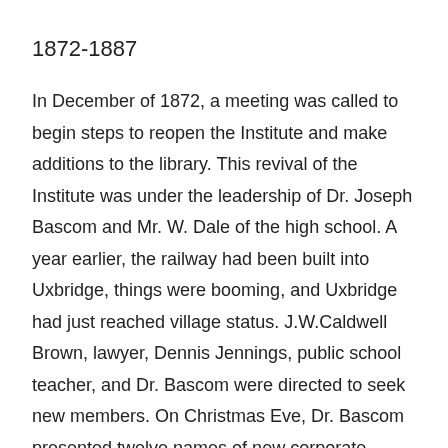1872-1887
In December of 1872, a meeting was called to begin steps to reopen the Institute and make additions to the library. This revival of the Institute was under the leadership of Dr. Joseph Bascom and Mr. W. Dale of the high school. A year earlier, the railway had been built into Uxbridge, things were booming, and Uxbridge had just reached village status. J.W.Caldwell Brown, lawyer, Dennis Jennings, public school teacher, and Dr. Bascom were directed to seek new members. On Christmas Eve, Dr. Bascom presented twelve names of new corporate members, and thirty